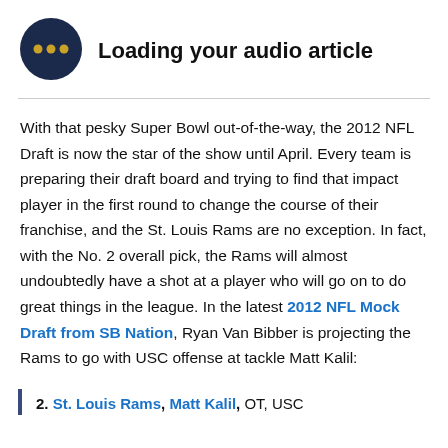[Figure (logo): Dark navy blue circle with three horizontal dots (ellipsis) in gold/yellow, representing an audio loading indicator]
Loading your audio article
With that pesky Super Bowl out-of-the-way, the 2012 NFL Draft is now the star of the show until April. Every team is preparing their draft board and trying to find that impact player in the first round to change the course of their franchise, and the St. Louis Rams are no exception. In fact, with the No. 2 overall pick, the Rams will almost undoubtedly have a shot at a player who will go on to do great things in the league. In the latest 2012 NFL Mock Draft from SB Nation, Ryan Van Bibber is projecting the Rams to go with USC offense at tackle Matt Kalil:
2. St. Louis Rams, Matt Kalil, OT, USC